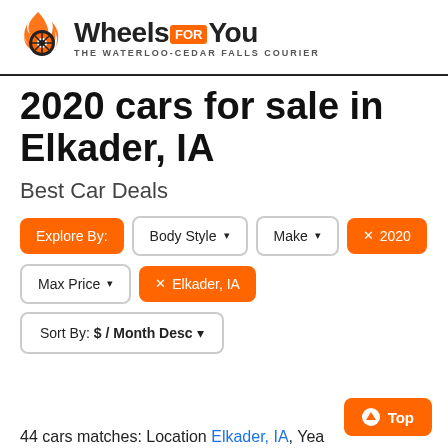[Figure (logo): WheelsForYou logo with orange flame wheel icon and text 'Wheels FOR You - THE WATERLOO-CEDAR FALLS COURIER']
2020 cars for sale in Elkader, IA
Best Car Deals
Explore By: | Body Style ▾ | Make ▾ | ✕ 2020 | Max Price ▾ | ✕ Elkader, IA
Sort By: $ / Month Desc ▾
44 cars matches: Location Elkader, IA, Yea…